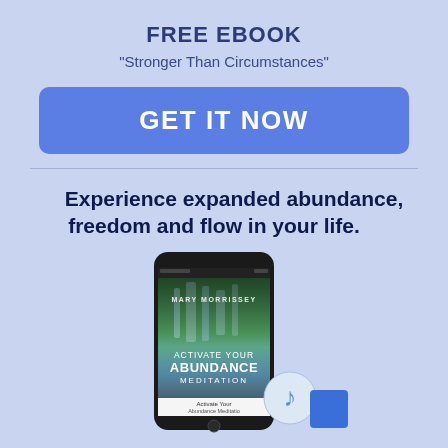FREE EBOOK
“Stronger Than Circumstances”
GET IT NOW
Experience expanded abundance, freedom and flow in your life.
[Figure (illustration): Smartphone displaying 'Activate Your Abundance Meditation' by Mary Morrissey, with app artwork showing a waterfall and meditation content. A music note icon and blue square are partially visible beside the phone.]